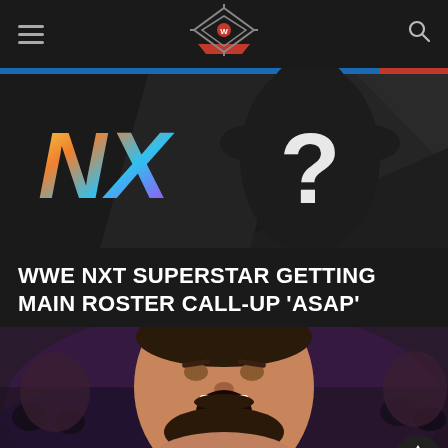WWE NXT wrestling news website header with hamburger menu, ring logo, and search icon
[Figure (screenshot): NXT colorful logo on left with silhouetted mystery wrestler figure showing a large white question mark on torso, dark geometric background]
WWE NXT SUPERSTAR GETTING MAIN ROSTER CALL-UP 'ASAP'
[Figure (photo): Close-up of a large bearded male wrestler with mouth open roaring, crowd visible in background with purple lighting]